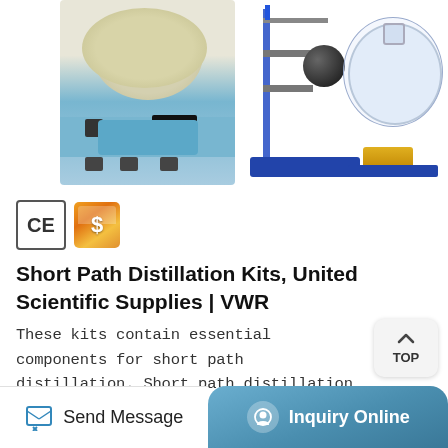[Figure (photo): Three laboratory product images: a heating mantle/magnetic stirrer device (blue and beige), a laboratory stand/clamp holder with a black component, and a round-bottom flask on a blue base]
[Figure (logo): CE certification mark and a gold supplier/manufacturer badge]
Short Path Distillation Kits, United Scientific Supplies | VWR
These kits contain essential components for short path distillation. Short path distillation head with 24/40 flask joints and 10/30 thermometer port (250 ml) features a condenser coil and three 1/4" hose nozzles, two for condenser and one for vacuum. The cow-type distillation receiver has one 24/40 outer joint and three 24/40 inner joints ...
Send Message
Inquiry Online